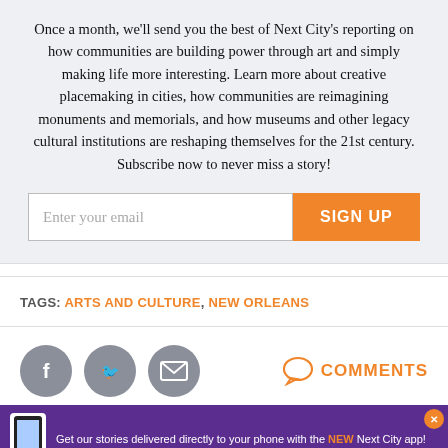Once a month, we'll send you the best of Next City's reporting on how communities are building power through art and simply making life more interesting. Learn more about creative placemaking in cities, how communities are reimagining monuments and memorials, and how museums and other legacy cultural institutions are reshaping themselves for the 21st century. Subscribe now to never miss a story!
[Figure (other): Email signup form with text input field labeled 'Enter your email' and an orange 'SIGN UP' button]
TAGS: ARTS AND CULTURE, NEW ORLEANS
[Figure (other): Social share icons: Facebook (grey circle), Twitter (grey circle), Email/envelope (grey circle), and a comments speech bubble icon with 'COMMENTS' text in orange]
[Figure (other): Purple ad banner: 'Get our stories delivered directly to your phone with the NEW Next City app!' with phone image and orange X close button]